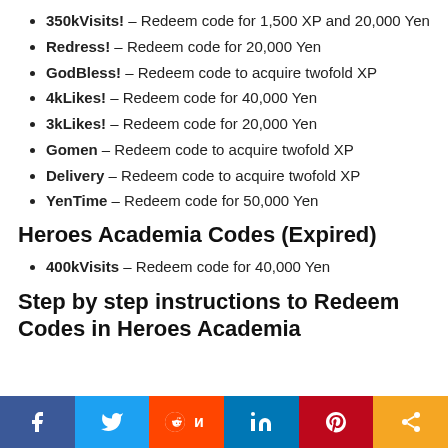350kVisits! – Redeem code for 1,500 XP and 20,000 Yen
Redress! – Redeem code for 20,000 Yen
GodBless! – Redeem code to acquire twofold XP
4kLikes! – Redeem code for 40,000 Yen
3kLikes! – Redeem code for 20,000 Yen
Gomen – Redeem code to acquire twofold XP
Delivery – Redeem code to acquire twofold XP
YenTime – Redeem code for 50,000 Yen
Heroes Academia Codes (Expired)
400kVisits – Redeem code for 40,000 Yen
Step by step instructions to Redeem Codes in Heroes Academia